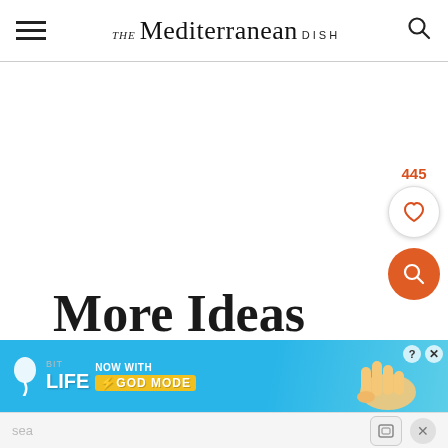THE Mediterranean DISH
More Ideas
[Figure (screenshot): BitLife ad banner: 'NOW WITH GOD MODE' on blue background with hand pointer illustration]
search